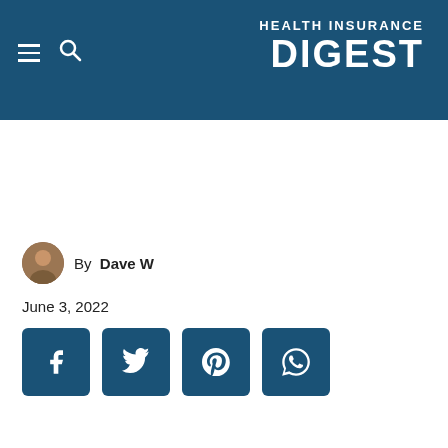HEALTH INSURANCE DIGEST
By Dave W
June 3, 2022
[Figure (other): Social sharing buttons for Facebook, Twitter, Pinterest, and WhatsApp]